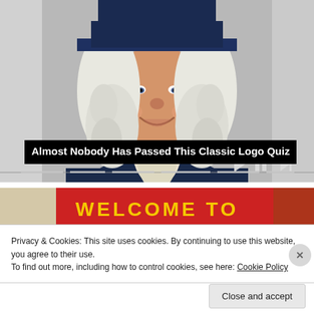[Figure (illustration): Quaker Oats man mascot illustration - a smiling man with white curly wig wearing a dark blue colonial coat with white collar/cravat, cropped to show head and upper torso. Gray background. Playback controls (skip-back, pause, skip-forward) visible at lower right with a progress bar beneath.]
Almost Nobody Has Passed This Classic Logo Quiz
[Figure (photo): Partial photo of a red banner/sign with yellow text reading 'WELCOME TO' — bottom portion of page, partially obscured by cookie consent banner.]
Privacy & Cookies: This site uses cookies. By continuing to use this website, you agree to their use.
To find out more, including how to control cookies, see here: Cookie Policy
Close and accept